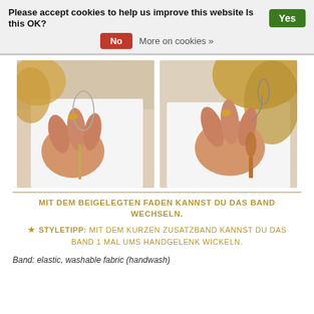Please accept cookies to help us improve this website Is this OK? Yes  No  More on cookies »
[Figure (photo): Two side-by-side photos of a woman in a white top demonstrating how to thread/change a band using a needle and thread. Left photo shows a loop of thread being pulled through fabric. Right photo shows a closer view of hands holding a needle.]
MIT DEM BEIGELEGTEN FADEN KANNST DU DAS BAND WECHSELN.
★ STYLETIPP: MIT DEM KURZEN ZUSATZBAND KANNST DU DAS BAND 1 MAL UMS HANDGELENK WICKELN.
Band: elastic, washable fabric (handwash)